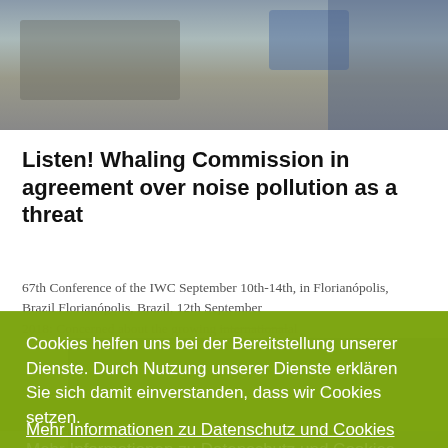[Figure (photo): Photo of people at a conference table with microphones and documents, partially visible at top of page]
Listen! Whaling Commission in agreement over noise pollution as a threat
67th Conference of the IWC September 10th-14th, in Florianópolis, Brazil Florianópolis, Brazil, 12th September 2018: Concerned about the growing international
[Figure (photo): Underwater/ocean photo visible at bottom right, partially obscured by cookie banner]
Cookies helfen uns bei der Bereitstellung unserer Dienste. Durch Nutzung unserer Dienste erklären Sie sich damit einverstanden, dass wir Cookies setzen.
Mehr Informationen zu Datenschutz und Cookies
Verstanden.